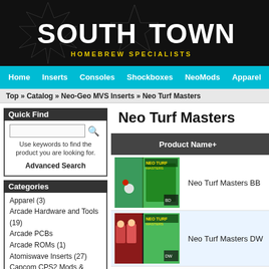[Figure (logo): Southtown Homebrew Specialists logo on black background with star graphic]
Home | Inserts | Consoles | Shockboxes | NeoMods | Apparel | Temp
Top » Catalog » Neo-Geo MVS Inserts » Neo Turf Masters
Quick Find
Use keywords to find the product you are looking for. Advanced Search
Categories
Apparel (3)
Arcade Hardware and Tools (19)
Arcade PCBs
Arcade ROMs (1)
Atomiswave Inserts (27)
Capcom CPS2 Mods & Extras
Console Video Games
Consolized MVS
Neo Turf Masters
| Product Name+ |
| --- |
| Neo Turf Masters BB |
| Neo Turf Masters DW |
[Figure (photo): Neo Turf Masters BB product thumbnail]
[Figure (photo): Neo Turf Masters DW product thumbnail]